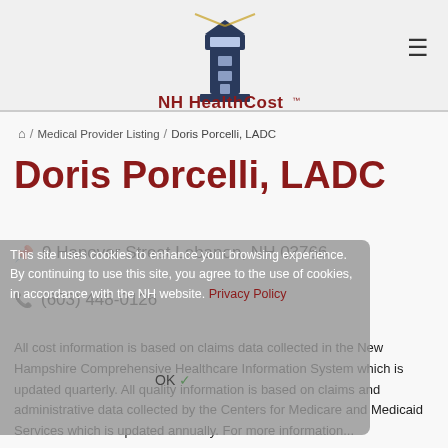[Figure (logo): NH HealthCost logo with lighthouse illustration above bold text 'NH HealthCost' with TM mark]
≡
⌂ / Medical Provider Listing / Doris Porcelli, LADC
Doris Porcelli, LADC
9 Hanover Street Lebanon, NH 03766
(603) 448-0126
This site uses cookies to enhance your browsing experience. By continuing to use this site, you agree to the use of cookies, in accordance with the NH website. Privacy Policy
OK ✓
All cost information is based on claims data collected in the New Hampshire Comprehensive Healthcare Information System which is updated quarterly. All quality information is based on claims and administrative data collected by the Centers for Medicare and Medicaid Services which is updated annually. For more information...